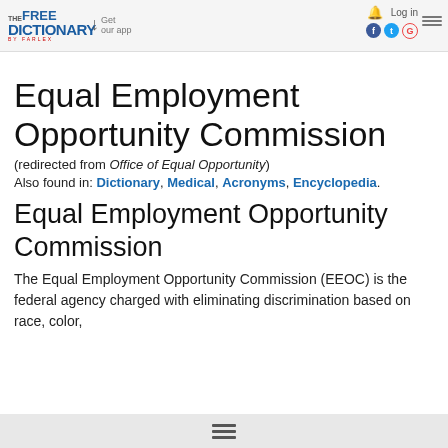The Free Dictionary by Farlex — Get our app — Log in
Equal Employment Opportunity Commission
(redirected from Office of Equal Opportunity)
Also found in: Dictionary, Medical, Acronyms, Encyclopedia.
Equal Employment Opportunity Commission
The Equal Employment Opportunity Commission (EEOC) is the federal agency charged with eliminating discrimination based on race, color,